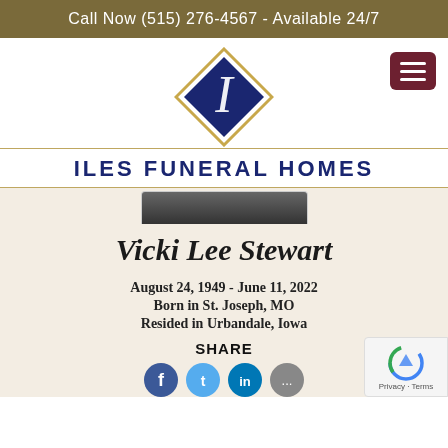Call Now (515) 276-4567 - Available 24/7
[Figure (logo): Iles Funeral Homes diamond logo with stylized 'I' in dark blue with gold border]
ILES FUNERAL HOMES
[Figure (photo): Partial photo of Vicki Lee Stewart, cropped]
Vicki Lee Stewart
August 24, 1949 - June 11, 2022
Born in St. Joseph, MO
Resided in Urbandale, Iowa
SHARE